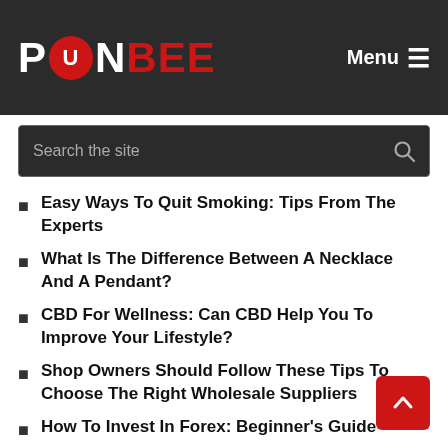PONBEE — Menu
Easy Ways To Quit Smoking: Tips From The Experts
What Is The Difference Between A Necklace And A Pendant?
CBD For Wellness: Can CBD Help You To Improve Your Lifestyle?
Shop Owners Should Follow These Tips To Choose The Right Wholesale Suppliers
How To Invest In Forex: Beginner's Guide